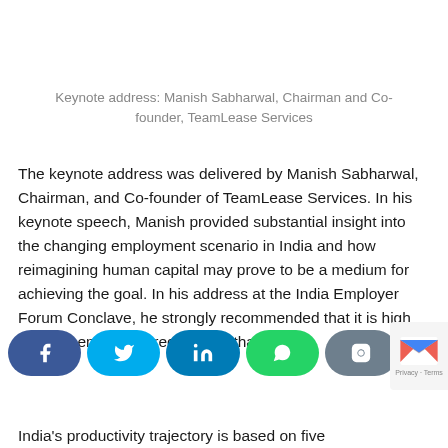Keynote address: Manish Sabharwal, Chairman and Co-founder, TeamLease Services
The keynote address was delivered by Manish Sabharwal, Chairman, and Co-founder of TeamLease Services. In his keynote speech, Manish provided substantial insight into the changing employment scenario in India and how reimagining human capital may prove to be a medium for achieving the goal. In his address at the India Employer Forum Conclave, he strongly recommended that it is high time the employers recognized that jobs ... India's productivity trajectory is based on five